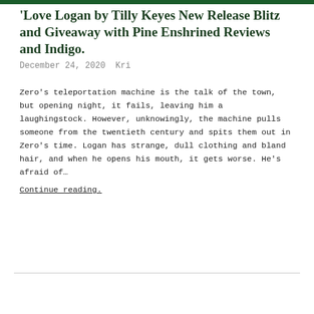'Love Logan by Tilly Keyes New Release Blitz and Giveaway with Pine Enshrined Reviews and Indigo.
December 24, 2020  Kri
Zero's teleportation machine is the talk of the town, but opening night, it fails, leaving him a laughingstock. However, unknowingly, the machine pulls someone from the twentieth century and spits them out in Zero's time. Logan has strange, dull clothing and bland hair, and when he opens his mouth, it gets worse. He's afraid of… Continue reading.